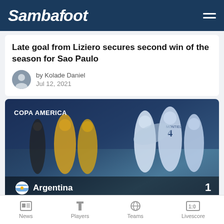Sambafoot
Late goal from Liziero secures second win of the season for Sao Paulo
by Kolade Daniel
Jul 12, 2021
[Figure (photo): Copa America match photo showing Argentina players celebrating, with score overlay: Argentina 1 - Brazil 0]
Copa America Argentina beat Brazil Maxi...
News  Players  Teams  Livescore